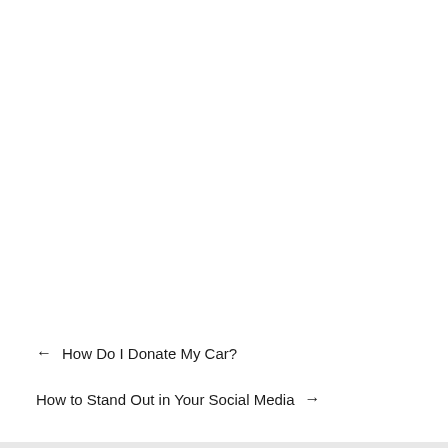← How Do I Donate My Car?
How to Stand Out in Your Social Media →